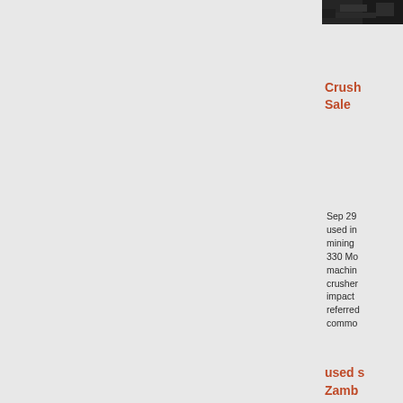[Figure (photo): Partial photo of industrial machinery, dark colored, cropped at top of page]
Crush...
Sale
Sep 29... used in mining ... 330 Mo... machin... crusher... impact ... referred... commo...
[Figure (photo): Photo of industrial crusher/mill equipment with red and orange components on dark background]
used s...
Zamb...